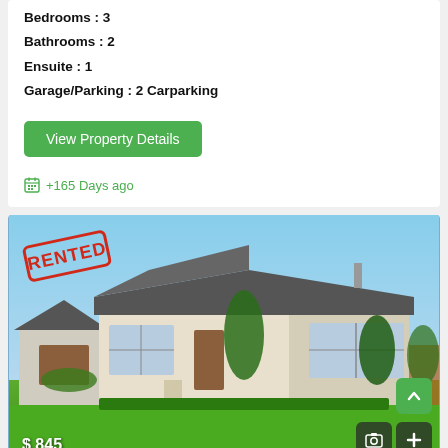Bedrooms : 3
Bathrooms : 2
Ensuite : 1
Garage/Parking : 2 Carparking
View Property Details
+165 Days ago
[Figure (photo): Exterior photo of a single-storey brick and weatherboard home with green lawn, blue sky, and a red RENTED stamp overlay. Price label $845 in bottom left. Camera and plus icons bottom right, green up-arrow button.]